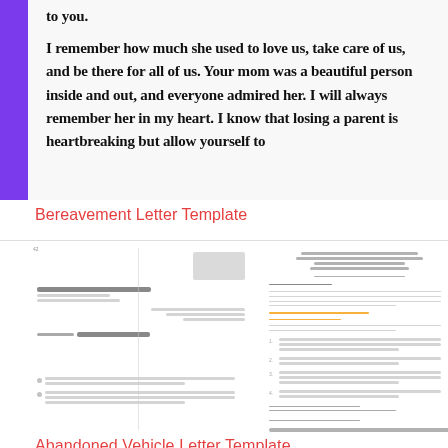[Figure (screenshot): Preview of a bereavement letter template showing italic bold serif text with a purple left border strip. Text reads: 'to you. I remember how much she used to love us, take care of us, and be there for all of us. Your mom was a beautiful person inside and out, and everyone admired her. I will always remember her in my heart. I know that losing a parent is heartbreaking but allow yourself to...']
Bereavement Letter Template
[Figure (screenshot): Two document previews side by side showing letter templates. Left preview shows an abandoned vehicle letter with letterhead, address blocks, body paragraphs and bullet points. Right preview shows a formal letter on official letterhead with numbered list items and signature block.]
Abandoned Vehicle Letter Template